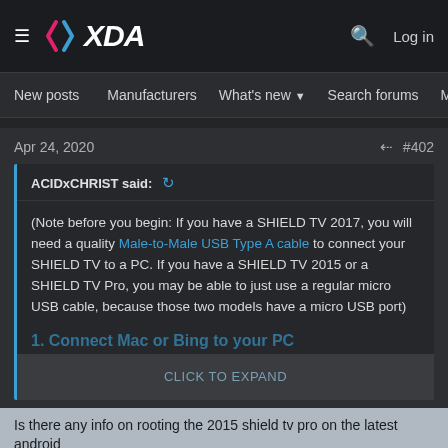XDA Forums navigation header with hamburger menu, XDA logo, search icon, and Log in button
New posts  Manufacturers  What's new  Search forums  Members  >
Apr 24, 2020  #402
ACIDxCHRIST said:  ↩
(Note before you begin: If you have a SHIELD TV 2017, you will need a quality Male-to-Male USB Type A cable to connect your SHIELD TV to a PC. If you have a SHIELD TV 2015 or a SHIELD TV Pro, you may be able to just use a regular micro USB cable, because those two models have a micro USB port)
CLICK TO EXPAND
Is there any info on rooting the 2015 shield tv pro on the latest android